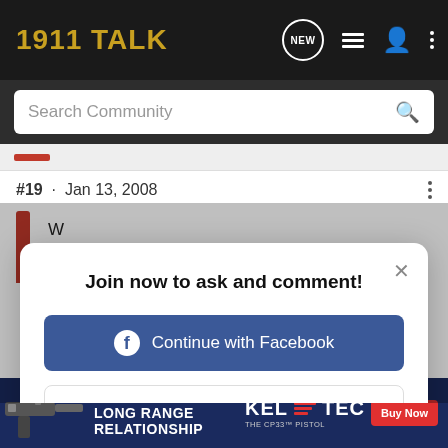1911 TALK
Search Community
#19 · Jan 13, 2008
Join now to ask and comment!
Continue with Facebook
Continue with Google
or sign up with email
[Figure (infographic): Advertisement banner: SEEKING LONG RANGE RELATIONSHIP - Kel-Tec THE CP33 PISTOL with Buy Now button]
W
H
A
C